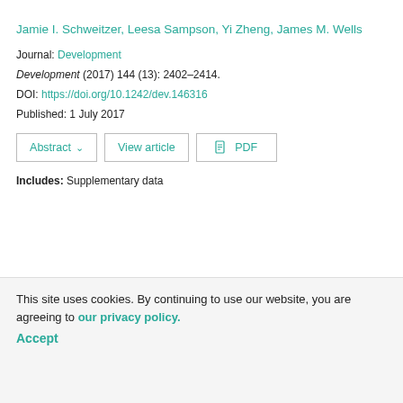Jamie I. Schweitzer, Leesa Sampson, Yi Zheng, James M. Wells
Journal: Development
Development (2017) 144 (13): 2402–2414.
DOI: https://doi.org/10.1242/dev.146316
Published: 1 July 2017
Includes: Supplementary data
This site uses cookies. By continuing to use our website, you are agreeing to our privacy policy. Accept